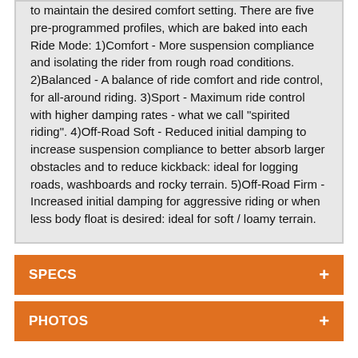to maintain the desired comfort setting. There are five pre-programmed profiles, which are baked into each Ride Mode: 1)Comfort - More suspension compliance and isolating the rider from rough road conditions. 2)Balanced - A balance of ride comfort and ride control, for all-around riding. 3)Sport - Maximum ride control with higher damping rates - what we call "spirited riding". 4)Off-Road Soft - Reduced initial damping to increase suspension compliance to better absorb larger obstacles and to reduce kickback: ideal for logging roads, washboards and rocky terrain. 5)Off-Road Firm - Increased initial damping for aggressive riding or when less body float is desired: ideal for soft / loamy terrain.
SPECS
PHOTOS